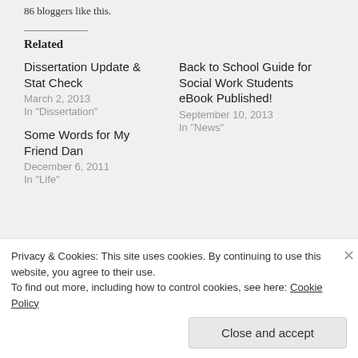86 bloggers like this.
Related
Dissertation Update & Stat Check
March 2, 2013
In "Dissertation"
Back to School Guide for Social Work Students eBook Published!
September 10, 2013
In "News"
Some Words for My Friend Dan
December 6, 2011
In "Life"
Privacy & Cookies: This site uses cookies. By continuing to use this website, you agree to their use.
To find out more, including how to control cookies, see here: Cookie Policy